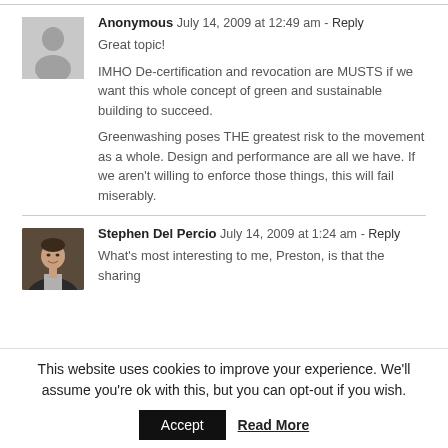Anonymous  July 14, 2009 at 12:49 am - Reply
Great topic!

IMHO De-certification and revocation are MUSTS if we want this whole concept of green and sustainable building to succeed.

Greenwashing poses THE greatest risk to the movement as a whole. Design and performance are all we have. If we aren't willing to enforce those things, this will fail miserably.
Stephen Del Percio  July 14, 2009 at 1:24 am - Reply
What's most interesting to me, Preston, is that the sharing
This website uses cookies to improve your experience. We'll assume you're ok with this, but you can opt-out if you wish.
Accept  Read More